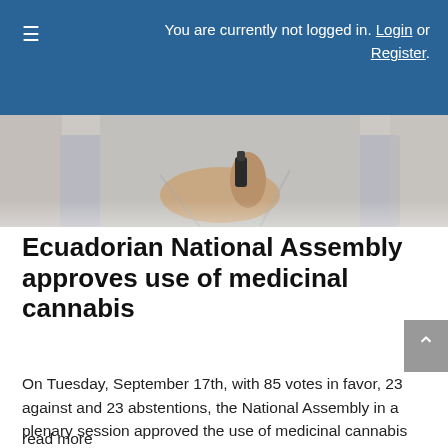You are currently not logged in. Login or Register.
[Figure (photo): Photo of a person in a light grey shirt holding a small dark bottle, cropped to show hands and torso]
Ecuadorian National Assembly approves use of medicinal cannabis
On Tuesday, September 17th, with 85 votes in favor, 23 against and 23 abstentions, the National Assembly in a plenary session approved the use of medicinal cannabis in Ecuador. This measure reforms the Organic Penal Code (COIP) in order to not penalize the cultivation of medicinal marihuana plants with less than 1% of THC composition [...]
read more